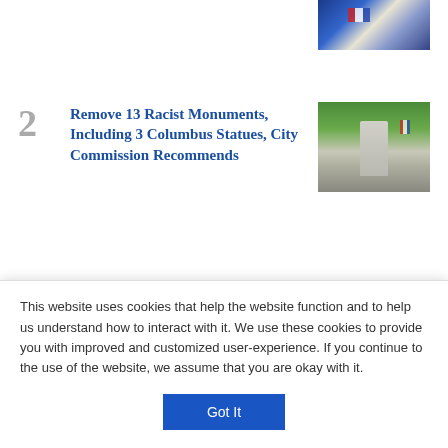[Figure (photo): Partial top of page showing crowd with flags, image only partially visible]
2 Remove 13 Racist Monuments, Including 3 Columbus Statues, City Commission Recommends
[Figure (photo): Stone monument or statue in a park setting]
3 CPS, CTU Strike Hopeful Tone as Students Return For Start of School Year
[Figure (photo): Chicago Public Schools CPS sign with NO CLEATS text below]
4 Music Theater Works' Production of 'Zorro: The Musical' Is Lavish (and Long-ish)
[Figure (photo): Red background with Zorro figure silhouette]
This website uses cookies that help the website function and to help us understand how to interact with it. We use these cookies to provide you with improved and customized user-experience. If you continue to the use of the website, we assume that you are okay with it.
Got It